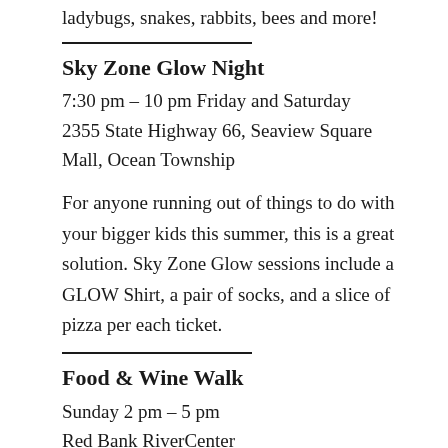ladybugs, snakes, rabbits, bees and more!
Sky Zone Glow Night
7:30 pm – 10 pm Friday and Saturday
2355 State Highway 66, Seaview Square Mall, Ocean Township
For anyone running out of things to do with your bigger kids this summer, this is a great solution. Sky Zone Glow sessions include a GLOW Shirt, a pair of socks, and a slice of pizza per each ticket.
Food & Wine Walk
Sunday 2 pm – 5 pm
Red Bank RiverCenter
140 Broad Street, Red Bank